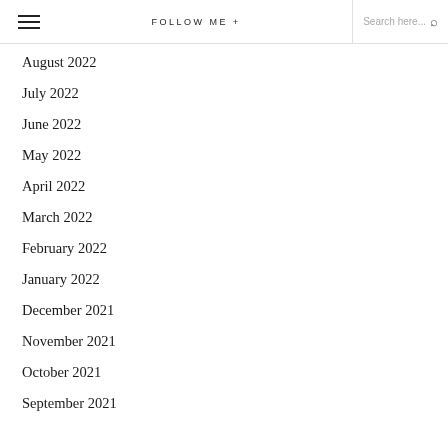≡  FOLLOW ME +  Search here...
August 2022
July 2022
June 2022
May 2022
April 2022
March 2022
February 2022
January 2022
December 2021
November 2021
October 2021
September 2021